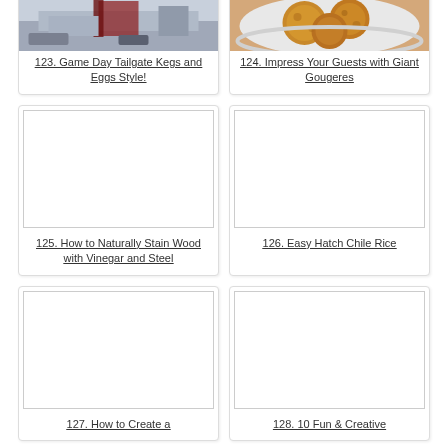[Figure (photo): Photo for item 123: Game Day Tailgate Kegs and Eggs Style - outdoor tailgate scene]
123. Game Day Tailgate Kegs and Eggs Style!
[Figure (photo): Photo for item 124: Giant Gougeres on a plate]
124. Impress Your Guests with Giant Gougeres
[Figure (photo): Placeholder image for item 125: How to Naturally Stain Wood with Vinegar and Steel]
125. How to Naturally Stain Wood with Vinegar and Steel
[Figure (photo): Placeholder image for item 126: Easy Hatch Chile Rice]
126. Easy Hatch Chile Rice
[Figure (photo): Placeholder image for item 127: How to Create a ...]
127. How to Create a
[Figure (photo): Placeholder image for item 128: 10 Fun & Creative ...]
128. 10 Fun & Creative